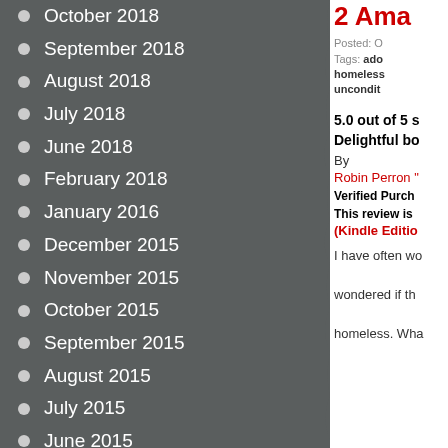October 2018
September 2018
August 2018
July 2018
June 2018
February 2018
January 2016
December 2015
November 2015
October 2015
September 2015
August 2015
July 2015
June 2015
May 2015
2 Ama
Posted: O
Tags: ado homeless uncondit
5.0 out of 5 s
Delightful bo
By
Robin Perron "
Verified Purch
This review is
(Kindle Editio
I have often wo wondered if th homeless. Wha